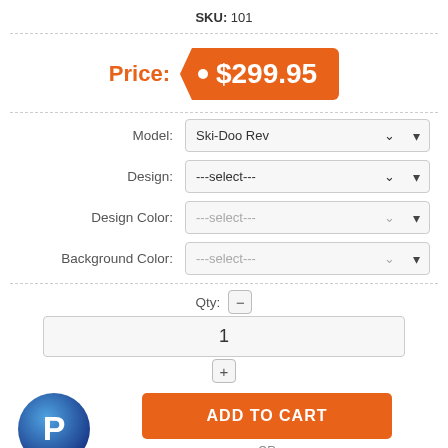SKU: 101
Price: $299.95
Model: Ski-Doo Rev
Design: ---select---
Design Color: ---select---
Background Color: ---select---
Qty: 1
ADD TO CART
- OR -
Add To Wishlist